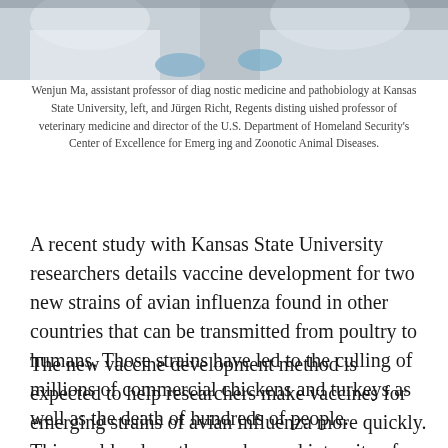[Figure (photo): Two researchers in white lab coats and blue gloves, cropped to show upper body/hands area]
Wenjun Ma, assistant professor of diagnostic medicine and pathobiology at Kansas State University, left, and Jürgen Richt, Regents distinguished professor of veterinary medicine and director of the U.S. Department of Homeland Security's Center of Excellence for Emerging and Zoonotic Animal Diseases.
A recent study with Kansas State University researchers details vaccine development for two new strains of avian influenza found in other countries that can be transmitted from poultry to humans. Those strains have led to the culling of millions of commercial chickens and turkeys as well as the death of hundreds of people.
The new vaccine development method is expected to help researchers make vaccines for emerging strains of avian influenza more quickly. This could reduce the number and intensity of large-scale outbreaks at poultry farms as well as curb human transmission.